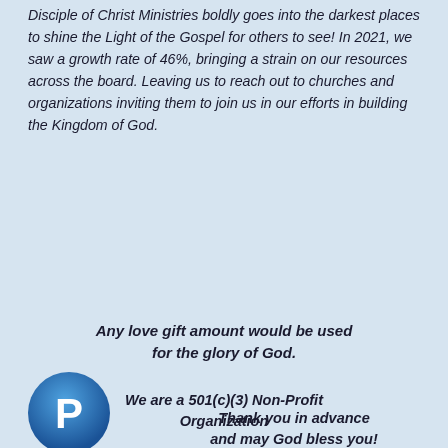Disciple of Christ Ministries boldly goes into the darkest places to shine the Light of the Gospel for others to see! In 2021, we saw a growth rate of 46%, bringing a strain on our resources across the board. Leaving us to reach out to churches and organizations inviting them to join us in our efforts in building the Kingdom of God.
Any love gift amount would be used for the glory of God.
We are a 501(c)(3) Non-Profit Organization
[Figure (logo): PayPal logo — blue circle with white P letter]
Thank you in advance and may God bless you!